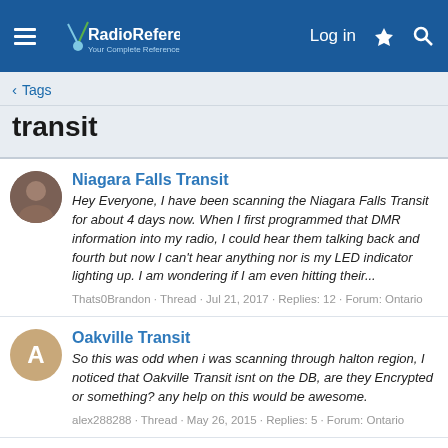RadioReference.com — Log in
< Tags
transit
Niagara Falls Transit
Hey Everyone, I have been scanning the Niagara Falls Transit for about 4 days now. When I first programmed that DMR information into my radio, I could hear them talking back and fourth but now I can't hear anything nor is my LED indicator lighting up. I am wondering if I am even hitting their...
Thats0Brandon · Thread · Jul 21, 2017 · Replies: 12 · Forum: Ontario
Oakville Transit
So this was odd when i was scanning through halton region, I noticed that Oakville Transit isnt on the DB, are they Encrypted or something? any help on this would be awesome.
alex288288 · Thread · May 26, 2015 · Replies: 5 · Forum: Ontario
Nynd transit never available for jobs!!